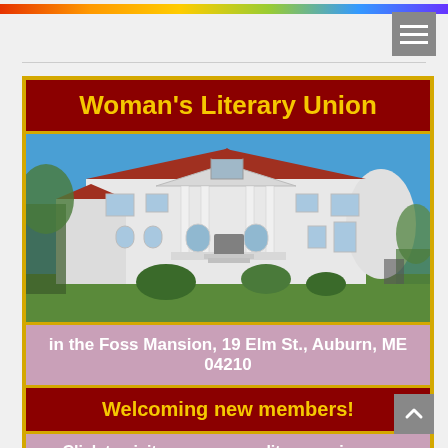[Figure (screenshot): Top navigation bar with rainbow-colored stripe and hamburger menu icon]
[Figure (photo): Photograph of the Foss Mansion, a large white colonial-style building with columns, arched windows, and a red tile roof against a blue sky]
Woman’s Literary Union
in the Foss Mansion, 19 Elm St., Auburn, ME 04210
Welcoming new members!
Click to visit www.womansliteraryunion.org